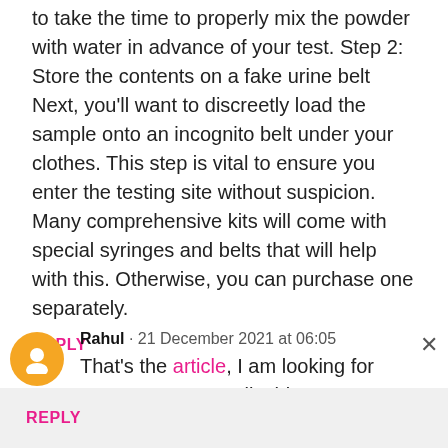to take the time to properly mix the powder with water in advance of your test. Step 2: Store the contents on a fake urine belt Next, you'll want to discreetly load the sample onto an incognito belt under your clothes. This step is vital to ensure you enter the testing site without suspicion. Many comprehensive kits will come with special syringes and belts that will help with this. Otherwise, you can purchase one separately.
REPLY
Rahul · 21 December 2021 at 06:05
That's the article, I am looking for great content. Really this Essay on Contribution of Technology in Education is real one. Thank you very much.
REPLY